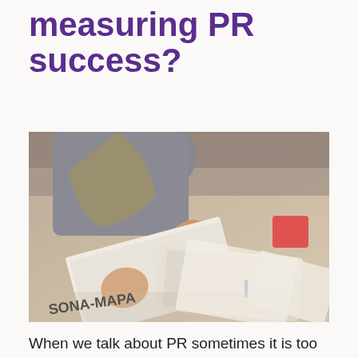measuring PR success?
[Figure (photo): A person flipping through magazines and publications spread out on a table, viewed from above at an angle. The person is wearing a grey top and has dark nail polish. Several magazines are visible including one labeled 'SONA-MAPA'. Papers and documents are scattered on the table surface.]
When we talk about PR sometimes it is too easy to simply think about the numbers and where a